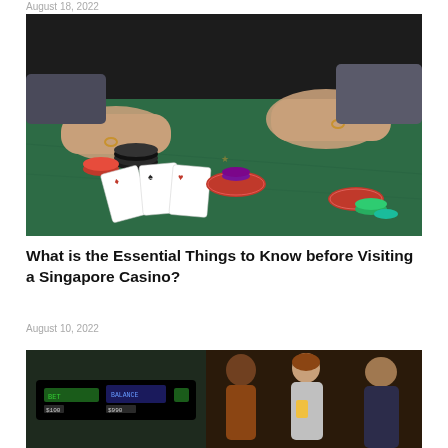August 18, 2022
[Figure (photo): Casino blackjack table with green felt, playing cards, poker chips, and hands of two players visible]
What is the Essential Things to Know before Visiting a Singapore Casino?
August 10, 2022
[Figure (photo): Casino gaming machine or slot machine display showing balance information, partially visible]